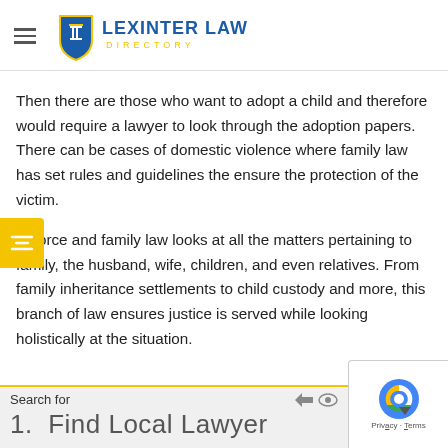LEXINTER LAW DIRECTORY
Then there are those who want to adopt a child and therefore would require a lawyer to look through the adoption papers. There can be cases of domestic violence where family law has set rules and guidelines the ensure the protection of the victim.
Divorce and family law looks at all the matters pertaining to family, the husband, wife, children, and even relatives. From family inheritance settlements to child custody and more, this branch of law ensures justice is served while looking holistically at the situation.
Search for
1.  Find Local Lawyer